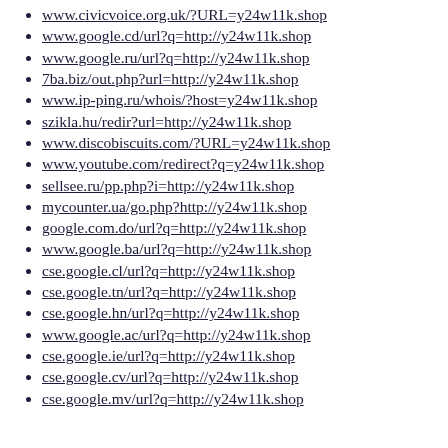www.civicvoice.org.uk/?URL=y24w11k.shop
www.google.cd/url?q=http://y24w11k.shop
www.google.ru/url?q=http://y24w11k.shop
7ba.biz/out.php?url=http://y24w11k.shop
www.ip-ping.ru/whois/?host=y24w11k.shop
szikla.hu/redir?url=http://y24w11k.shop
www.discobiscuits.com/?URL=y24w11k.shop
www.youtube.com/redirect?q=y24w11k.shop
sellsee.ru/pp.php?i=http://y24w11k.shop
mycounter.ua/go.php?http://y24w11k.shop
google.com.do/url?q=http://y24w11k.shop
www.google.ba/url?q=http://y24w11k.shop
cse.google.cl/url?q=http://y24w11k.shop
cse.google.tn/url?q=http://y24w11k.shop
cse.google.hn/url?q=http://y24w11k.shop
www.google.ac/url?q=http://y24w11k.shop
cse.google.ie/url?q=http://y24w11k.shop
cse.google.cv/url?q=http://y24w11k.shop
cse.google.mv/url?q=http://y24w11k.shop